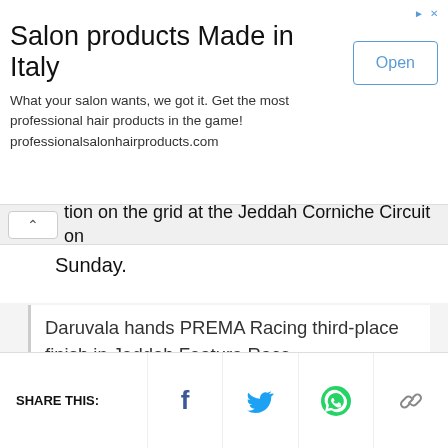[Figure (other): Advertisement banner for salon products. Title: 'Salon products Made in Italy'. Body text: 'What your salon wants, we got it. Get the most professional hair products in the game! professionalsalonhairproducts.com'. Has an Open button on the right.]
tion on the grid at the Jeddah Corniche Circuit on Sunday.
Daruvala hands PREMA Racing third-place finish in Jeddah Feature Race
[Figure (other): Advertisement for American Kitchen cookware. Logo on left in dark blue background reading 'american kitchen'. Text: '10% Off Sitewide Code: STARTCOOKING'. Photo of cookware on right.]
SHARE THIS: